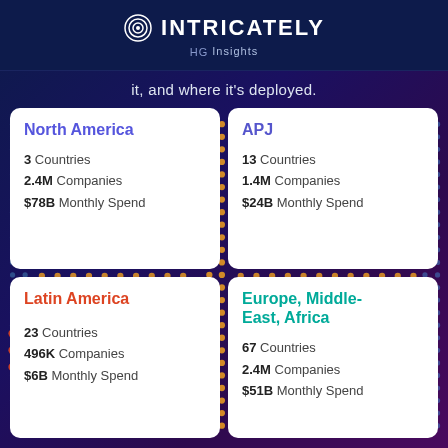INTRICATELY HG Insights
it, and where it's deployed.
North America
3 Countries
2.4M Companies
$78B Monthly Spend
APJ
13 Countries
1.4M Companies
$24B Monthly Spend
Latin America
23 Countries
496K Companies
$6B Monthly Spend
Europe, Middle-East, Africa
67 Countries
2.4M Companies
$51B Monthly Spend